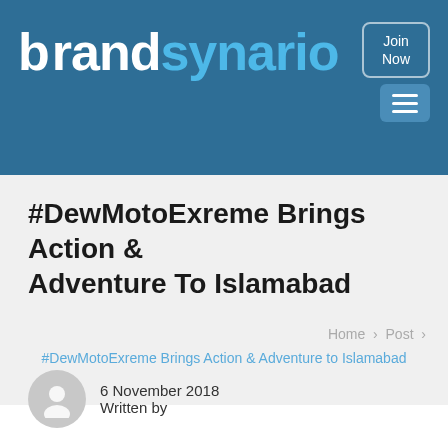brandsynario | Join Now
#DewMotoExreme Brings Action & Adventure To Islamabad
Home > Post > #DewMotoExreme Brings Action & Adventure to Islamabad
6 November 2018
Written by